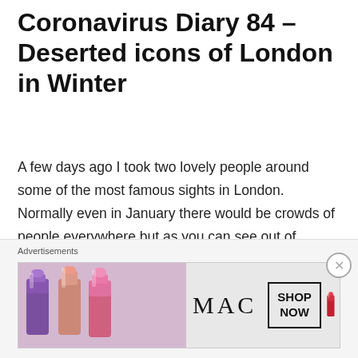Coronavirus Diary 84 – Deserted icons of London in Winter
A few days ago I took two lovely people around some of the most famous sights in London. Normally even in January there would be crowds of people everywhere but as you can see out of millions of people, we use about had the whole place to ourselves.
If you've never thought how people are surviving when they work in tourism or hospitality, don't worry neither have the British government or if they have, after 22 months of
Advertisements
[Figure (photo): MAC cosmetics advertisement showing lipsticks with SHOP NOW button]